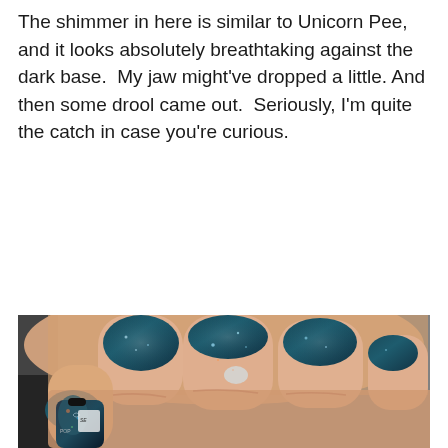The shimmer in here is similar to Unicorn Pee, and it looks absolutely breathtaking against the dark base.  My jaw might've dropped a little. And then some drool came out.  Seriously, I'm quite the catch in case you're curious.
[Figure (photo): Close-up photo of a hand with dark teal/navy holographic glitter nail polish on multiple fingers. A nail polish bottle with 'POP' branding is visible in the lower portion of the image.]